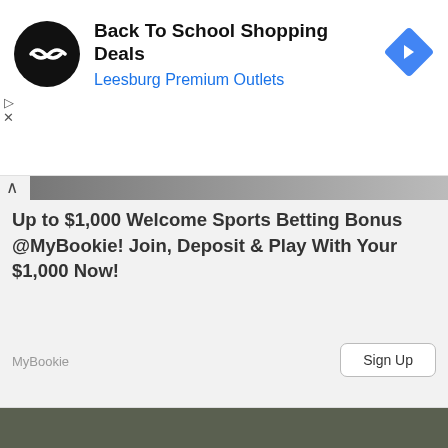[Figure (screenshot): Ad banner: Back To School Shopping Deals at Leesburg Premium Outlets with logo icon and navigation arrow icon]
Back To School Shopping Deals
Leesburg Premium Outlets
[Figure (screenshot): MyBookie sports betting ad banner with up arrow control, title text, source label, and Sign Up button]
Up to $1,000 Welcome Sports Betting Bonus @MyBookie! Join, Deposit & Play With Your $1,000 Now!
MyBookie
[Figure (photo): Close-up photo of an older man with grey hair wearing a blue jacket and white turtleneck, outdoors with green blurred background]
Privacy · Terms